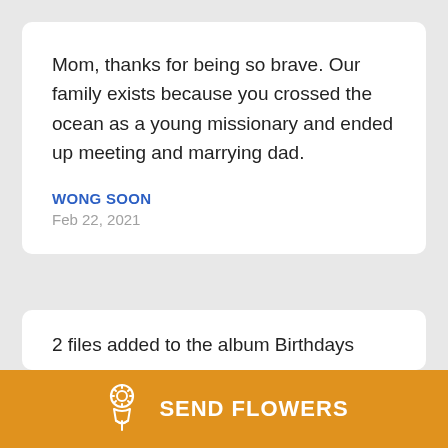Mom, thanks for being so brave. Our family exists because you crossed the ocean as a young missionary and ended up meeting and marrying dad.
WONG SOON
Feb 22, 2021
2 files added to the album Birthdays
WONG SOON
SEND FLOWERS